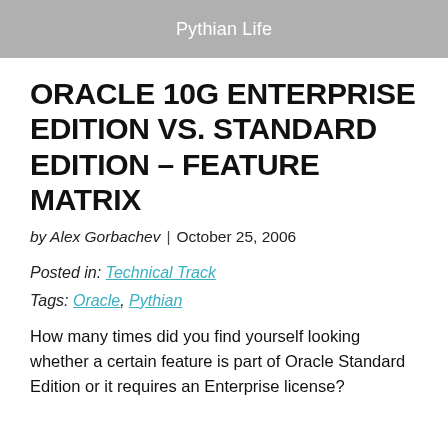Pythian Life
ORACLE 10G ENTERPRISE EDITION VS. STANDARD EDITION – FEATURE MATRIX
by Alex Gorbachev  |  October 25, 2006
Posted in: Technical Track
Tags: Oracle, Pythian
How many times did you find yourself looking whether a certain feature is part of Oracle Standard Edition or it requires an Enterprise license?